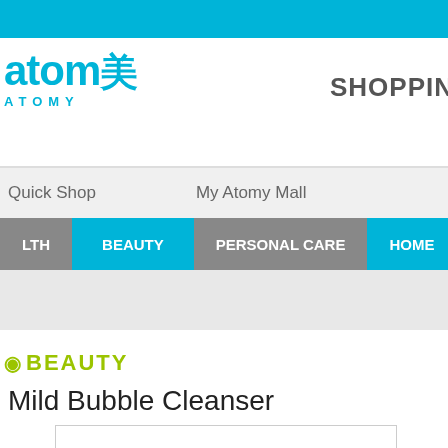[Figure (logo): Atomy logo with Chinese character and 'ATOMY' text in cyan]
SHOPPING
Quick Shop   My Atomy Mall
LTH  BEAUTY  PERSONAL CARE  HOME
BEAUTY
Mild Bubble Cleanser